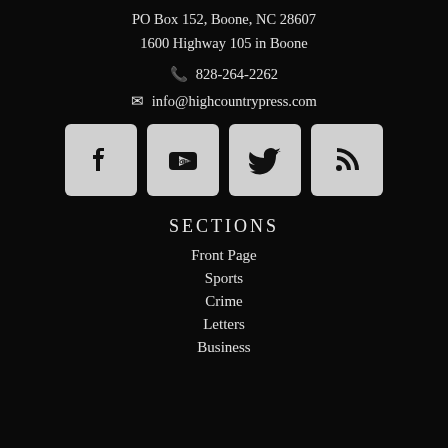PO Box 152, Boone, NC 28607
1600 Highway 105 in Boone
📞 828-264-2262
✉ info@highcountrypress.com
[Figure (infographic): Four social media icon buttons: Facebook, YouTube, Twitter, RSS feed]
SECTIONS
Front Page
Sports
Crime
Letters
Business